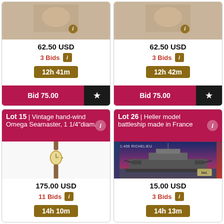[Figure (photo): Auction item photo - top left card, partial view]
62.50 USD
3 Bids
12h 41m
Bid 75.00
[Figure (photo): Auction item photo - top right card, partial view]
62.50 USD
3 Bids
12h 42m
Bid 75.00
Lot 15 | Vintage hand-wind Omega Seamaster, 1 1/4"diam.
[Figure (photo): Vintage hand-wind Omega Seamaster watch on brown leather strap]
175.00 USD
11 Bids
14h 10m
Lot 26 | Heller model battleship made in France
[Figure (photo): Heller model battleship kit box showing a large warship]
15.00 USD
3 Bids
14h 13m